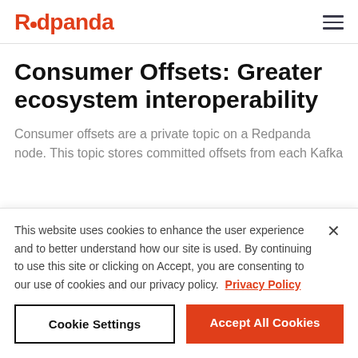Redpanda
Consumer Offsets: Greater ecosystem interoperability
Consumer offsets are a private topic on a Redpanda node. This topic stores committed offsets from each Kafka
This website uses cookies to enhance the user experience and to better understand how our site is used. By continuing to use this site or clicking on Accept, you are consenting to our use of cookies and our privacy policy. Privacy Policy
Cookie Settings
Accept All Cookies